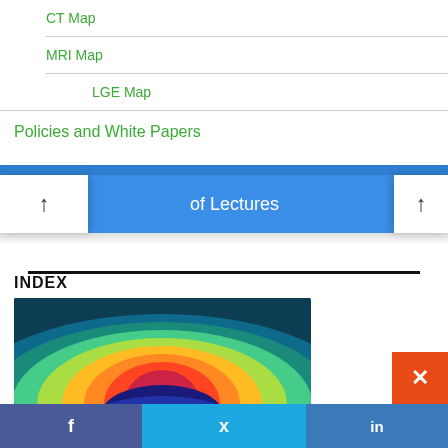CT Map
MRI Map
LGE Map
Policies and White Papers
of Lectures
INDEX
[Figure (photo): Thermal/heat map medical image showing a colorful gradient from blue/purple at bottom to green, yellow, orange, and red at top, semi-circular shape against dark teal background]
f  (Twitter bird icon)  in  ✕